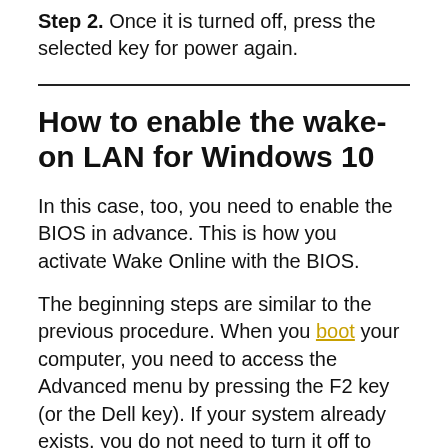Step 2. Once it is turned off, press the selected key for power again.
How to enable the wake-on LAN for Windows 10
In this case, too, you need to enable the BIOS in advance. This is how you activate Wake Online with the BIOS.
The beginning steps are similar to the previous procedure. When you boot your computer, you need to access the Advanced menu by pressing the F2 key (or the Dell key). If your system already exists, you do not need to turn it off to access the BIOS configuration, but you can use the